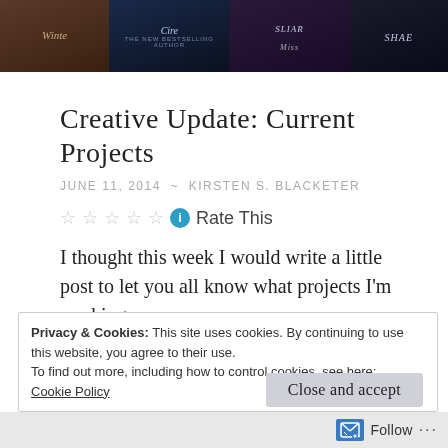[Figure (photo): Banner image showing multiple book covers with dark blue and burgundy tones, partially cropped at top]
Creative Update: Current Projects
JUNE 11, 2014  ~  KIRSTEN S. BLACKETER
Rate This
I thought this week I would write a little post to let you all know what projects I’m working on.
Privacy & Cookies: This site uses cookies. By continuing to use this website, you agree to their use.
To find out more, including how to control cookies, see here:
Cookie Policy
Close and accept
Follow